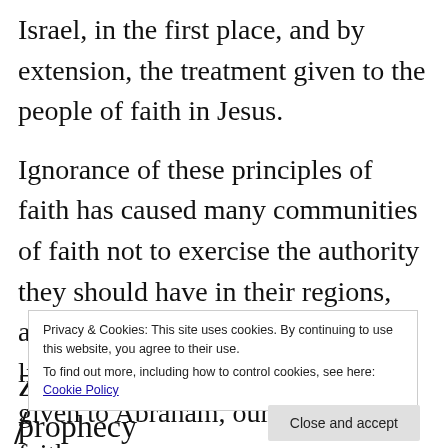because of the treatment given to the people of Israel, in the first place, and by extension, the treatment given to the people of faith in Jesus.
Ignorance of these principles of faith has caused many communities of faith not to exercise the authority they should have in their regions, and therefore, they do not enjoy the life of faith based on the promises given to Abraham, our father in faith.
Privacy & Cookies: This site uses cookies. By continuing to use this website, you agree to their use.
To find out more, including how to control cookies, see here: Cookie Policy
Close and accept
Zechariah as he concludes his prophecy